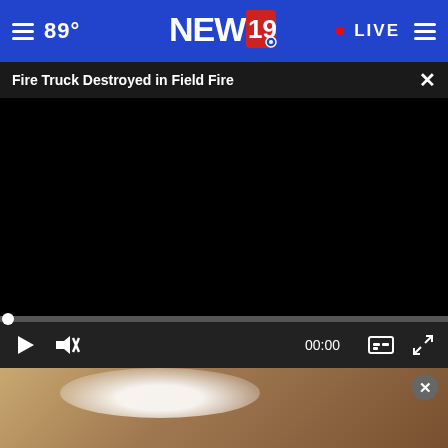89° NEWS19 • LIVE
Fire Truck Destroyed in Field Fire
[Figure (screenshot): Black video player area showing a paused video, with progress bar at left edge and controls showing play button, mute icon, 00:00 timestamp, captions icon, and fullscreen icon]
[Figure (photo): Advertisement banner for Pet Depot showing a child with a white cat and text: If you love Pets... You'll Love Us!]